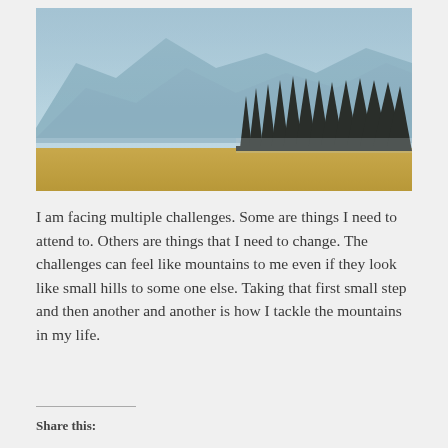[Figure (photo): Landscape photo showing a mountain with blue hazy peaks in the background, a row of dark evergreen pine trees in the middle ground, and a golden grassy meadow in the foreground.]
I am facing multiple challenges. Some are things I need to attend to. Others are things that I need to change. The challenges can feel like mountains to me even if they look like small hills to some one else. Taking that first small step and then another and another is how I tackle the mountains in my life.
Share this: